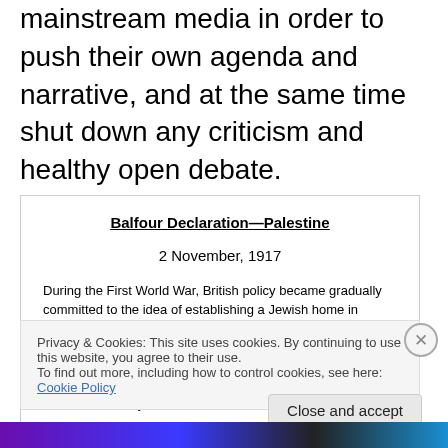mainstream media in order to push their own agenda and narrative, and at the same time shut down any criticism and healthy open debate.
Balfour Declaration—Palestine
2 November, 1917
During the First World War, British policy became gradually committed to the idea of establishing a Jewish home in Palestine. After discussions in the British Cabinet, and consultation with Zionist leaders, the decision was made known in the form of a letter by Arthur James Lord Balfour to Lord Rothschild. The letter represents a political recognition of Zionist aims by a
Privacy & Cookies: This site uses cookies. By continuing to use this website, you agree to their use.
To find out more, including how to control cookies, see here: Cookie Policy
Close and accept